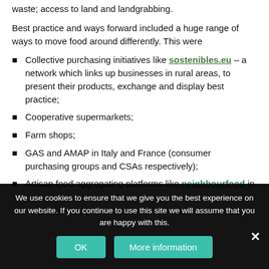waste; access to land and landgrabbing.
Best practice and ways forward included a huge range of ways to move food around differently. This were
Collective purchasing initiatives like sostenibles.eu – a network which links up businesses in rural areas, to present their products, exchange and display best practice;
Cooperative supermarkets;
Farm shops;
GAS and AMAP in Italy and France (consumer purchasing groups and CSAs respectively);
Artisan food aggregating platforms like neighbourfood in
We use cookies to ensure that we give you the best experience on our website. If you continue to use this site we will assume that you are happy with this.